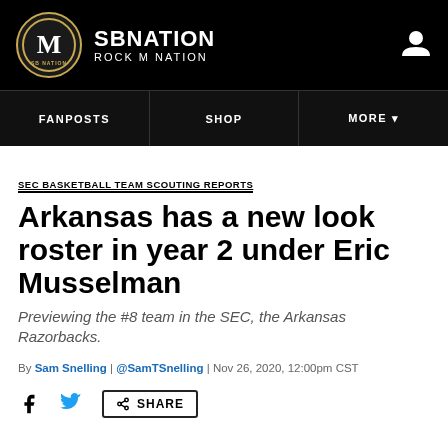SB NATION | ROCK M NATION
FANPOSTS | SHOP | MORE
SEC BASKETBALL TEAM SCOUTING REPORTS
Arkansas has a new look roster in year 2 under Eric Musselman
Previewing the #8 team in the SEC, the Arkansas Razorbacks.
By Sam Snelling | @SamTSnelling | Nov 26, 2020, 12:00pm CST